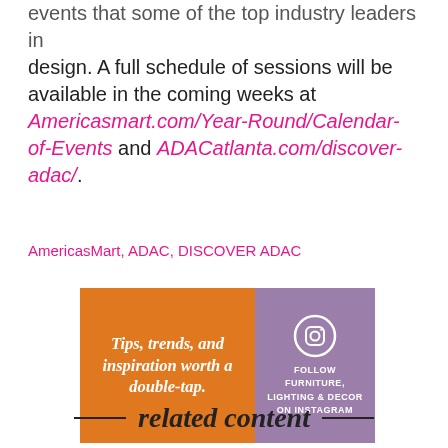...events that some of the top industry leaders in design. A full schedule of sessions will be available in the coming weeks at Americasmart.com/Year-Round/Calendar-of-Events and ADACatlanta.com/discover-adac/.
AmericasMart, ADAC, DISCOVER ADAC
[Figure (infographic): Orange and purple ad banner. Left side orange with italic bold text: 'Tips, trends, and inspiration worth a double-tap.' Right side purple with Instagram icon and text: 'FOLLOW FURNITURE, LIGHTING & DECOR ON INSTAGRAM']
related content